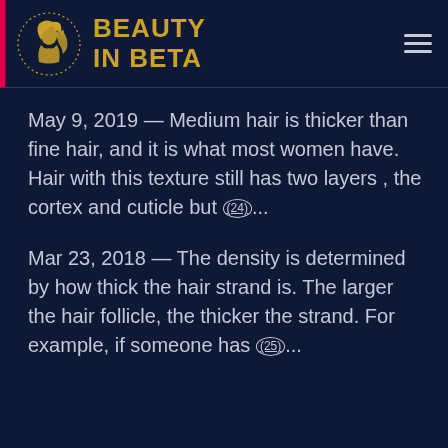BEAUTY IN BETA
May 9, 2019 — Medium hair is thicker than fine hair, and it is what most women have. Hair with this texture still has two layers , the cortex and cuticle but (24)...
Mar 23, 2018 — The density is determined by how thick the hair strand is. The larger the hair follicle, the thicker the strand. For example, if someone has (25)...